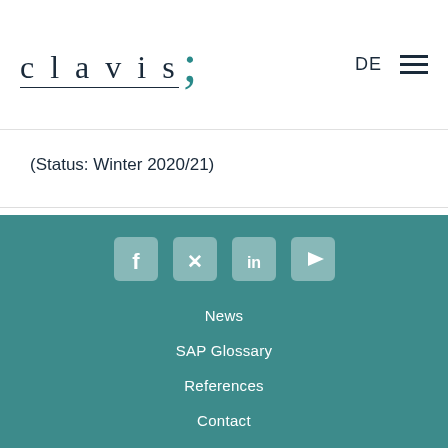clavis
(Status: Winter 2020/21)
[Figure (other): Footer with social media icons (Facebook, Xing, LinkedIn, YouTube) and navigation links: News, SAP Glossary, References, Contact on teal background]